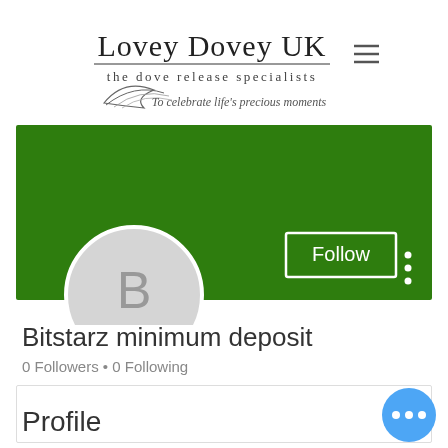[Figure (logo): Lovey Dovey UK logo with text 'the dove release specialists' and 'To celebrate life's precious moments' with a feather/dove illustration]
[Figure (screenshot): Green profile banner with Follow button and three-dot menu icon, and a circular avatar with letter B below]
Bitstarz minimum deposit
0 Followers • 0 Following
[Figure (screenshot): Collapsed section with a chevron/down arrow on the right]
Profile
[Figure (other): Blue floating action button with three dots (ellipsis)]